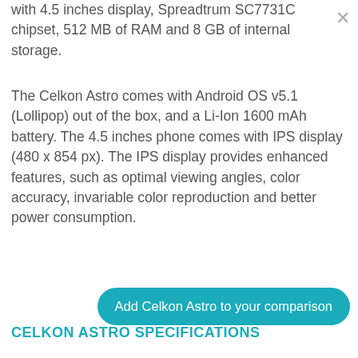with 4.5 inches display, Spreadtrum SC7731C chipset, 512 MB of RAM and 8 GB of internal storage.
The Celkon Astro comes with Android OS v5.1 (Lollipop) out of the box, and a Li-Ion 1600 mAh battery. The 4.5 inches phone comes with IPS display (480 x 854 px). The IPS display provides enhanced features, such as optimal viewing angles, color accuracy, invariable color reproduction and better power consumption.
Add Celkon Astro to your comparison
CELKON ASTRO SPECIFICATIONS